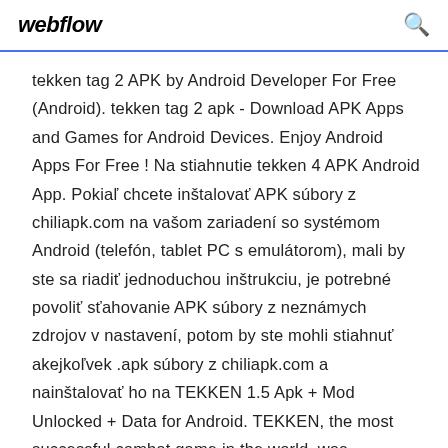webflow
tekken tag 2 APK by Android Developer For Free (Android). tekken tag 2 apk - Download APK Apps and Games for Android Devices. Enjoy Android Apps For Free ! Na stiahnutie tekken 4 APK Android App. Pokiaľ chcete inštalovať APK súbory z chiliapk.com na vašom zariadení so systémom Android (telefón, tablet PC s emulátorom), mali by ste sa riadiť jednoduchou inštrukciu, je potrebné povoliť sťahovanie APK súbory z neznámych zdrojov v nastavení, potom by ste mohli stiahnuť akejkoľvek .apk súbory z chiliapk.com a nainštalovať ho na TEKKEN 1.5 Apk + Mod Unlocked + Data for Android. TEKKEN, the most successful combat game in the world, was